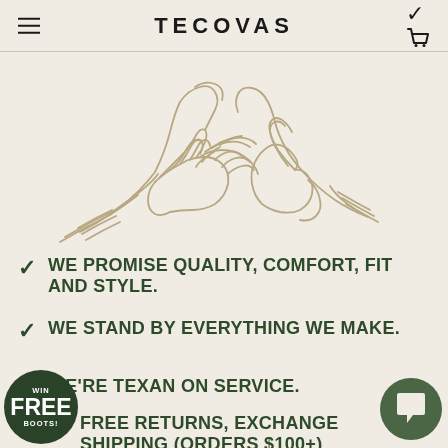TECOVAS
[Figure (illustration): Line drawing illustration of two hands shaking in a handshake, rendered in beige/tan tones on a light cream background.]
WE PROMISE QUALITY, COMFORT, FIT AND STYLE.
WE STAND BY EVERYTHING WE MAKE.
WE'RE TEXAN ON SERVICE.
FREE RETURNS, EXCHANGE SHIPPING (ORDERS $100+)